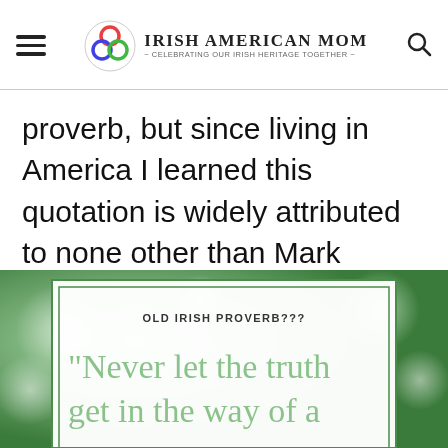Irish American Mom - Celebrating Our Irish Heritage Together
proverb, but since living in America I learned this quotation is widely attributed to none other than Mark Twain.
[Figure (illustration): Image of a quote card with green bokeh background. The card reads 'OLD IRISH PROVERB???' at the top, and below in large light green text: '"Never let the truth get in the way of a']